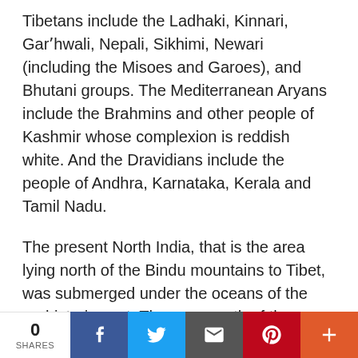Tibetans include the Ladhaki, Kinnari, Gar'hwali, Nepali, Sikhimi, Newari (including the Misoes and Garoes), and Bhutani groups. The Mediterranean Aryans include the Brahmins and other people of Kashmir whose complexion is reddish white. And the Dravidians include the people of Andhra, Karnataka, Kerala and Tamil Nadu.
The present North India, that is the area lying north of the Bindu mountains to Tibet, was submerged under the oceans of the prehistoric past. The area south of the Bindu mountains which now includes South India, the present Arabian sea, the Polynesian Islands, the Malaysian archipelago and southern Africa formed a vast region which was known as Gondowanaland. Austrics inhabited the north of Gondowanaland and Negroes the south. The central part was inhabited by both Austrics and Negroes. The present Dravidians are the descendants of that Austrico-Negroid
[Figure (infographic): Social share bar with share count (0 SHARES) and buttons for Facebook, Twitter, Email, Pinterest, and More (+)]